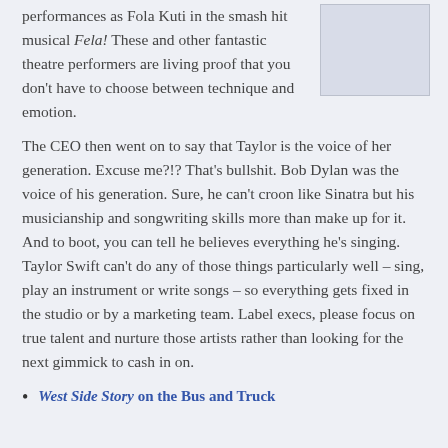performances as Fola Kuti in the smash hit musical Fela! These and other fantastic theatre performers are living proof that you don't have to choose between technique and emotion.
[Figure (other): A light grey/blue rectangular image placeholder box]
The CEO then went on to say that Taylor is the voice of her generation. Excuse me?!? That's bullshit. Bob Dylan was the voice of his generation. Sure, he can't croon like Sinatra but his musicianship and songwriting skills more than make up for it. And to boot, you can tell he believes everything he's singing. Taylor Swift can't do any of those things particularly well – sing, play an instrument or write songs – so everything gets fixed in the studio or by a marketing team. Label execs, please focus on true talent and nurture those artists rather than looking for the next gimmick to cash in on.
West Side Story on the Bus and Truck